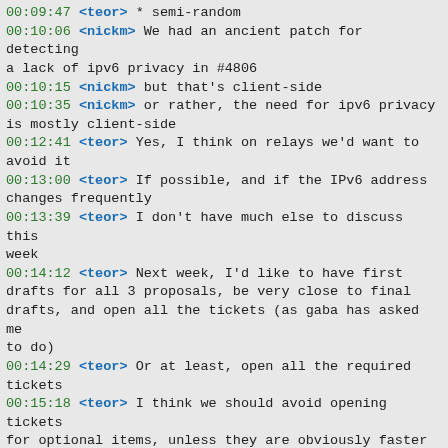00:09:47 <teor> * semi-random
00:10:06 <nickm> We had an ancient patch for detecting a lack of ipv6 privacy in #4806
00:10:15 <nickm> but that's client-side
00:10:35 <nickm> or rather, the need for ipv6 privacy is mostly client-side
00:12:41 <teor> Yes, I think on relays we'd want to avoid it
00:13:00 <teor> If possible, and if the IPv6 address changes frequently
00:13:39 <teor> I don't have much else to discuss this week
00:14:12 <teor> Next week, I'd like to have first drafts for all 3 proposals, be very close to final drafts, and open all the tickets (as gaba has asked me to do)
00:14:29 <teor> Or at least, open all the required tickets
00:15:18 <teor> I think we should avoid opening tickets for optional items, unless they are obviously faster to implement than the default
00:15:25 <teor> (I think there's only one of those)
00:15:46 <teor> We can decide how many optional items we have time for, when the basic functionality is working
00:15:49 <teor> (done)
00:17:22 <teor> nickm seems to have lost connection...
00:19:24 <nickm> ok, that was annoying
00:19:49 <teor> There was a netsplit? About 5-10 users on one IRC host seem to have lost connection